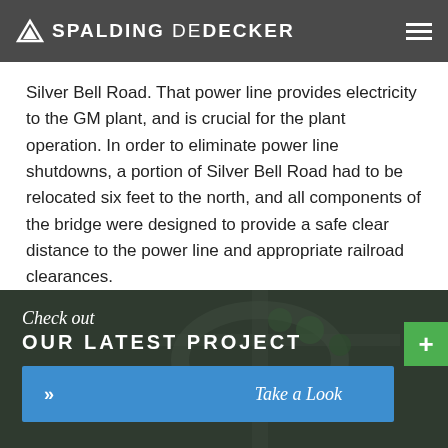SPALDING DeDECKER
Silver Bell Road. That power line provides electricity to the GM plant, and is crucial for the plant operation. In order to eliminate power line shutdowns, a portion of Silver Bell Road had to be relocated six feet to the north, and all components of the bridge were designed to provide a safe clear distance to the power line and appropriate railroad clearances.
[Figure (photo): Aerial photograph of a road/infrastructure project with overlay banner showing 'Check out OUR LATEST PROJECT' and a 'Take a Look' button in blue]
Check out OUR LATEST PROJECT
Take a Look